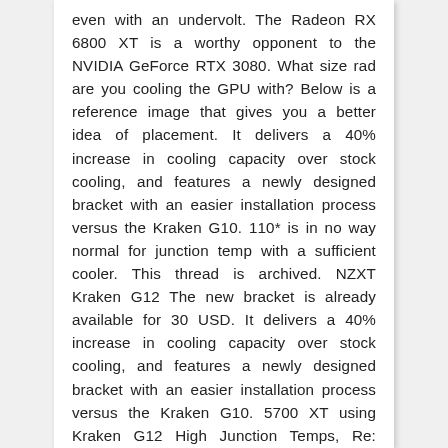even with an undervolt. The Radeon RX 6800 XT is a worthy opponent to the NVIDIA GeForce RTX 3080. What size rad are you cooling the GPU with? Below is a reference image that gives you a better idea of placement. It delivers a 40% increase in cooling capacity over stock cooling, and features a newly designed bracket with an easier installation process versus the Kraken G10. 110* is in no way normal for junction temp with a sufficient cooler. This thread is archived. NZXT Kraken G12 The new bracket is already available for 30 USD. It delivers a 40% increase in cooling capacity over stock cooling, and features a newly designed bracket with an easier installation process versus the Kraken G10. 5700 XT using Kraken G12 High Junction Temps, Re: 5700 XT using Kraken G12 High Junction Temps. ... AMD Radeon RX 5700 XT: This is a 5700xt that I have liquid cooled. Ryzen 5 5600x, B550 aorus pro ac, Hyper 212 black, 2 x 16gb F4-3200c16d kit, Aorus nvme gen4 1tb, Why 110-Degree Temps Are Normal for AMD's Radeon 5700, 5700 XT, Sapphire RX